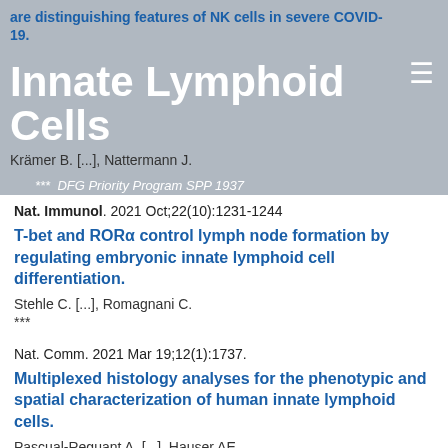Innate Lymphoid Cells
are distinguishing features of NK cells in severe COVID-19.
Krämer B. [...], Nattermann J.
*** DFG Priority Program SPP 1937
Nat. Immunol. 2021 Oct;22(10):1231-1244
T-bet and RORα control lymph node formation by regulating embryonic innate lymphoid cell differentiation.
Stehle C. [...], Romagnani C.
***
Nat. Comm. 2021 Mar 19;12(1):1737.
Multiplexed histology analyses for the phenotypic and spatial characterization of human innate lymphoid cells.
Pascual-Reguant A. [...], Hauser AE.